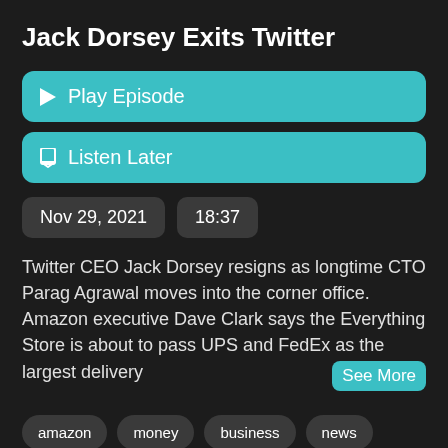Jack Dorsey Exits Twitter
Play Episode
Listen Later
Nov 29, 2021
18:37
Twitter CEO Jack Dorsey resigns as longtime CTO Parag Agrawal moves into the corner office. Amazon executive Dave Clark says the Everything Store is about to pass UPS and FedEx as the largest delivery
See More
amazon
money
business
news
market
investing
fool
stocks